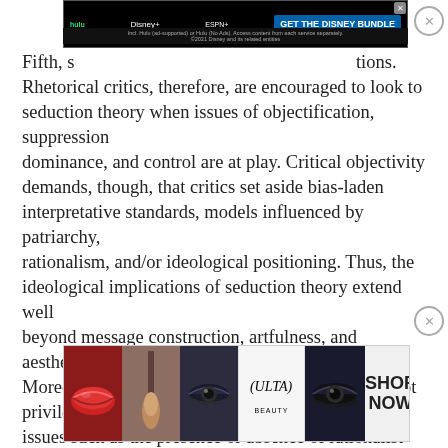[Figure (screenshot): Disney Bundle advertisement banner at top of page showing Hulu, Disney+, and ESPN+ logos with 'GET THE DISNEY BUNDLE' call to action]
Fifth, seduction theory recognizes these situations. Rhetorical critics, therefore, are encouraged to look to seduction theory when issues of objectification, suppression dominance, and control are at play. Critical objectivity demands, though, that critics set aside bias-laden interpretative standards, models influenced by patriarchy, rationalism, and/or ideological positioning. Thus, the ideological implications of seduction theory extend well beyond message construction, artfulness, and aesthetics. Moreover, seduction theory as a critical lens does not privilege issues such as the presence or absence of rationalist “good reasons.” Likewise, issues regarding power and the ethical implications of seduction theory to the goals of feminism are
[Figure (screenshot): Ulta Beauty advertisement banner at bottom showing makeup imagery including lips, brush, and eyes with ULTA BEAUTY logo and SHOP NOW button]